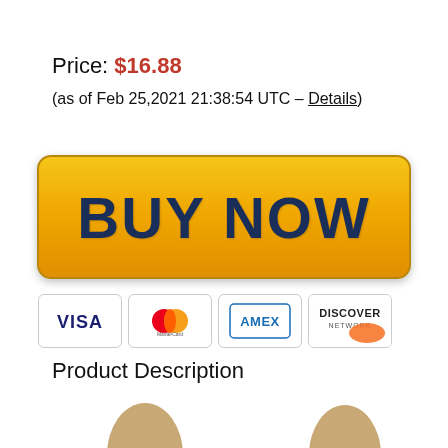Price: $16.88
(as of Feb 25,2021 21:38:54 UTC – Details)
[Figure (other): Yellow BUY NOW button with gradient background]
[Figure (other): Payment card logos: VISA, MasterCard, AMEX, DISCOVER NETWORK]
Product Description
[Figure (photo): Partial heads of two people visible at the bottom of the page]